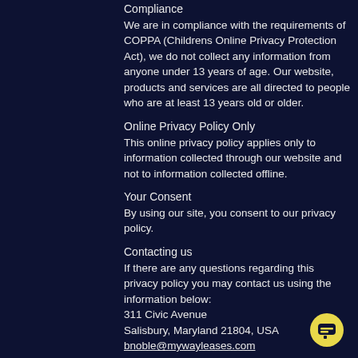Compliance
We are in compliance with the requirements of COPPA (Childrens Online Privacy Protection Act), we do not collect any information from anyone under 13 years of age. Our website, products and services are all directed to people who are at least 13 years old or older.
Online Privacy Policy Only
This online privacy policy applies only to information collected through our website and not to information collected offline.
Your Consent
By using our site, you consent to our privacy policy.
Contacting us
If there are any questions regarding this privacy policy you may contact us using the information below:
311 Civic Avenue
Salisbury, Maryland 21804, USA
bnoble@mywayleases.com
1-443-736-3082